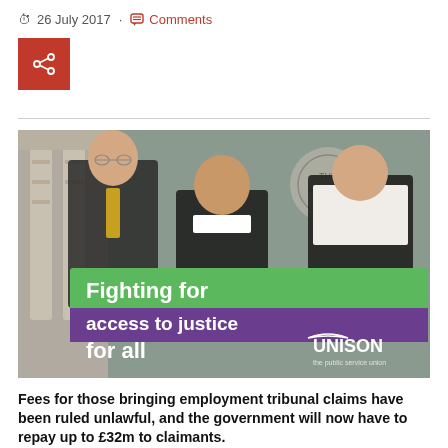26 July 2017 · Comments
[Figure (photo): Three people holding a green and purple UNISON banner reading 'Fighting for access to justice for all' outside a court building]
Fees for those bringing employment tribunal claims have been ruled unlawful, and the government will now have to repay up to £32m to claimants.